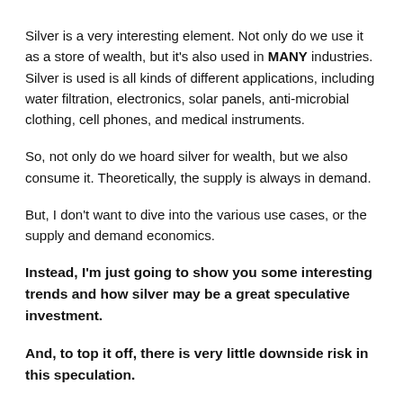Silver is a very interesting element. Not only do we use it as a store of wealth, but it's also used in MANY industries. Silver is used is all kinds of different applications, including water filtration, electronics, solar panels, anti-microbial clothing, cell phones, and medical instruments.
So, not only do we hoard silver for wealth, but we also consume it. Theoretically, the supply is always in demand.
But, I don't want to dive into the various use cases, or the supply and demand economics.
Instead, I'm just going to show you some interesting trends and how silver may be a great speculative investment.
And, to top it off, there is very little downside risk in this speculation.
First, let's just look at a price chart that has been adjusted